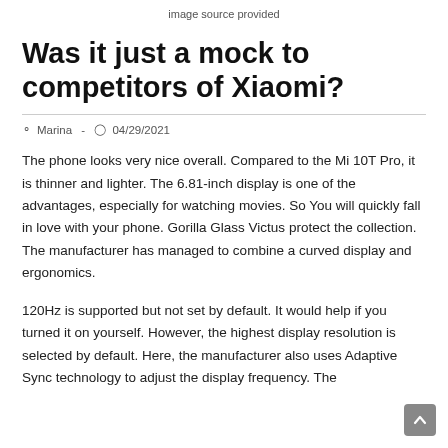image source provided
Was it just a mock to competitors of Xiaomi?
Marina  -  04/29/2021
The phone looks very nice overall. Compared to the Mi 10T Pro, it is thinner and lighter. The 6.81-inch display is one of the advantages, especially for watching movies. So You will quickly fall in love with your phone. Gorilla Glass Victus protect the collection. The manufacturer has managed to combine a curved display and ergonomics.
120Hz is supported but not set by default. It would help if you turned it on yourself. However, the highest display resolution is selected by default. Here, the manufacturer also uses Adaptive Sync technology to adjust the display frequency. The